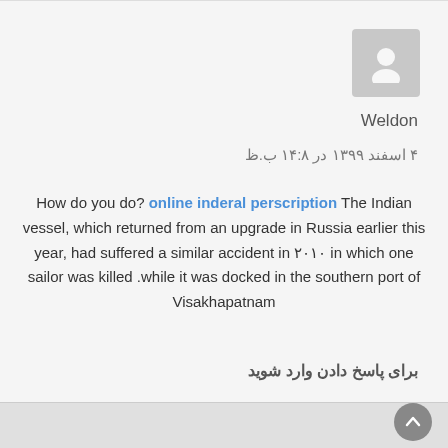[Figure (illustration): Grey avatar placeholder icon with a person silhouette]
Weldon
۴ اسفند ۱۳۹۹ در ۱۴:۸ ب.ظ
How do you do? online inderal perscription The Indian vessel, which returned from an upgrade in Russia earlier this year, had suffered a similar accident in ۲۰۱۰ in which one sailor was killed while it was docked in the southern port of Visakhapatnam.
برای پاسخ دادن وارد شوید